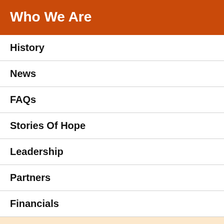Who We Are
History
News
FAQs
Stories Of Hope
Leadership
Partners
Financials
Careers at Easterseals
Contact Us
Locations